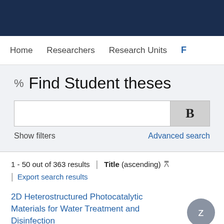[Figure (screenshot): Dark navy blue header bar]
Home   Researchers   Research Units   F
% Find Student theses
[Figure (screenshot): Search input box with bold B search button, Show filters link and Advanced search link]
1 - 50 out of 363 results | Title (ascending) ≥
| Export search results
2D Heterostructured Photocatalytic Materials for Water Treatment and Disinfection